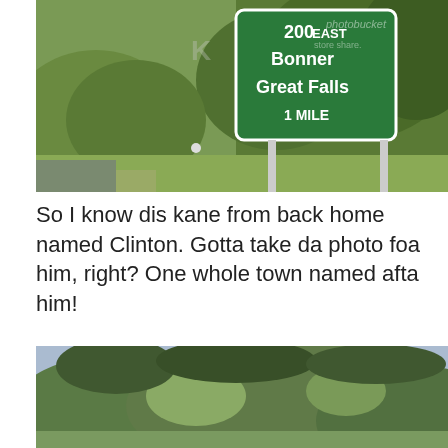[Figure (photo): Highway road sign on green background reading '200 EAST / Bonner / Great Falls / 1 MILE' with trees and hillside in background. Photobucket watermark visible.]
So I know dis kane from back home named Clinton. Gotta take da photo foa him, right? One whole town named afta him!
[Figure (photo): Forested hillside/mountain covered in dense green and grey trees, viewed from road.]